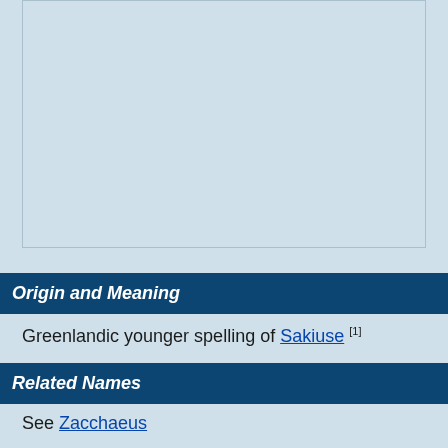[Figure (other): Light blue rectangular image placeholder with border]
Origin and Meaning
Greenlandic younger spelling of Sakiuse [1]
Related Names
See Zacchaeus